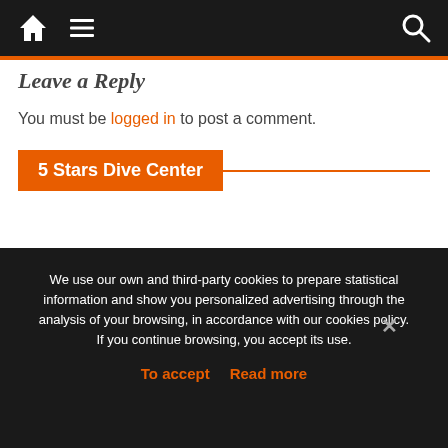Navigation bar with home, menu, and search icons
Leave a Reply
You must be logged in to post a comment.
5 Stars Dive Center
[Figure (other): Loading spinner icon]
We use our own and third-party cookies to prepare statistical information and show you personalized advertising through the analysis of your browsing, in accordance with our cookies policy. If you continue browsing, you accept its use.
To accept  Read more